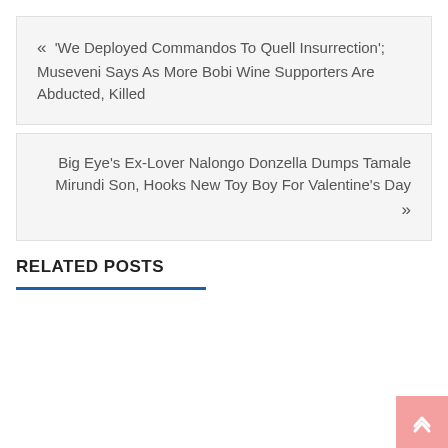« 'We Deployed Commandos To Quell Insurrection'; Museveni Says As More Bobi Wine Supporters Are Abducted, Killed
Big Eye's Ex-Lover Nalongo Donzella Dumps Tamale Mirundi Son, Hooks New Toy Boy For Valentine's Day »
RELATED POSTS